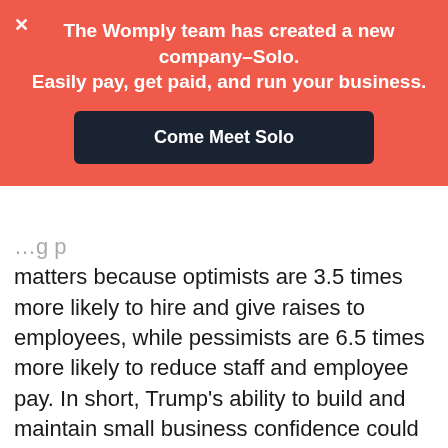[Figure (infographic): A promotional banner with salmon/red background. An X close button top-left. Bold white text reading 'The Womply team has created a new company–Solo. Easily pay, get paid, and run your business.' with a dark navy button labeled 'Come Meet Solo'.]
matters because optimists are 3.5 times more likely to hire and give raises to employees, while pessimists are 6.5 times more likely to reduce staff and employee pay. In short, Trump's ability to build and maintain small business confidence could have enormous economic consequences, with room for wide swings in either direction.

Beyond the political gallows, Trump faces the ripple effects of how small business owners react to key policy issues that affect local commerce. Specifically, American merchants will evaluate their new president — and adjust